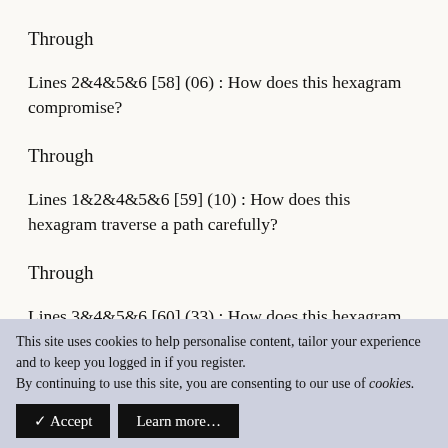Through
Lines 2&4&5&6 [58] (06) : How does this hexagram compromise?
Through
Lines 1&2&4&5&6 [59] (10) : How does this hexagram traverse a path carefully?
Through
Lines 3&4&5&6 [60] (33) : How does this hexagram
This site uses cookies to help personalise content, tailor your experience and to keep you logged in if you register.
By continuing to use this site, you are consenting to our use of cookies.